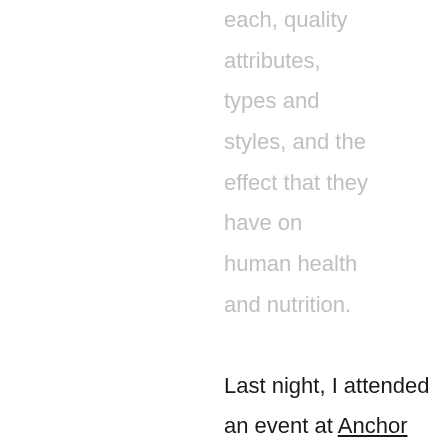each, quality attributes, types and styles, and the effect that they have on human health and nutrition.
Last night, I attended an event at Anchor Brewing in San Francisco to promote the book. A few dozen people enjoyed